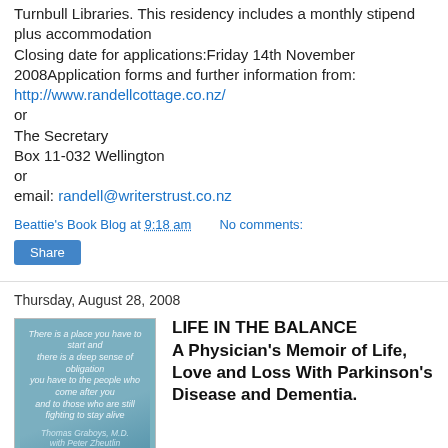Turnbull Libraries. This residency includes a monthly stipend plus accommodation
Closing date for applications:Friday 14th November 2008Application forms and further information from:
http://www.randellcottage.co.nz/
or
The Secretary
Box 11-032 Wellington
or
email: randell@writerstrust.co.nz
Beattie's Book Blog at 9:18 am   No comments:
Share
Thursday, August 28, 2008
[Figure (photo): Book cover of 'Life in the Balance' by Thomas Graboys M.D. with Peter Zheutlin, teal/blue gradient cover with abstract imagery]
LIFE IN THE BALANCE
A Physician's Memoir of Life, Love and Loss With Parkinson's Disease and Dementia.